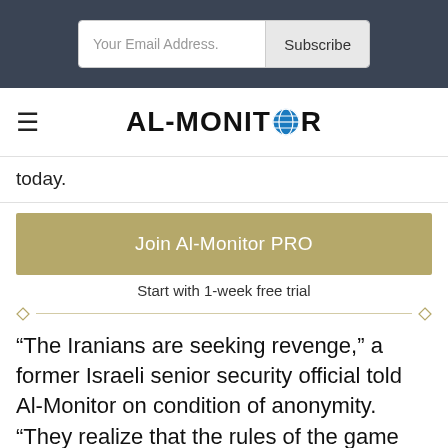Your Email Address. Subscribe
AL-MONITOR
today.
Join Al-Monitor PRO
Start with 1-week free trial
“The Iranians are seeking revenge,” a former Israeli senior security official told Al-Monitor on condition of anonymity. “They realize that the rules of the game have changed and they want to level the playing field.”